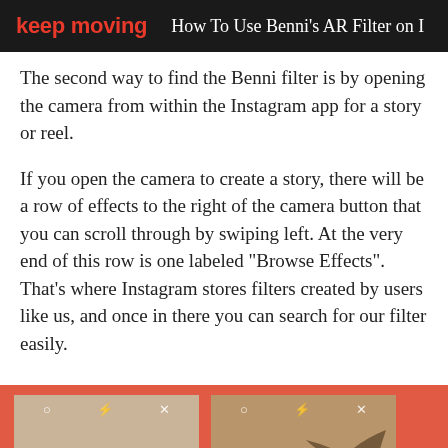keep moving | How To Use Benni's AR Filter on I
The second way to find the Benni filter is by opening the camera from within the Instagram app for a story or reel.
If you open the camera to create a story, there will be a row of effects to the right of the camera button that you can scroll through by swiping left. At the very end of this row is one labeled "Browse Effects". That's where Instagram stores filters created by users like us, and once in there you can search for our filter easily.
[Figure (screenshot): Two side-by-side screenshots of Instagram camera interface on a red/coral background, each showing circular, lightning bolt, and X icons at the top. The right image shows a bird/hand silhouette.]